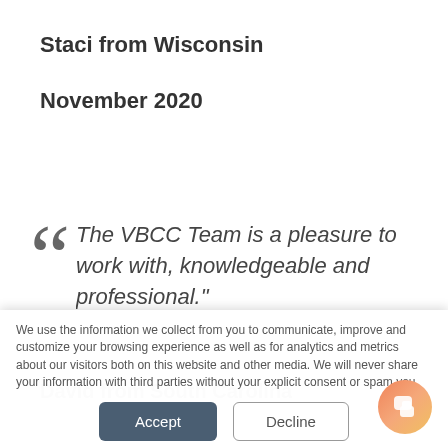Staci from Wisconsin
November 2020
The VBCC Team is a pleasure to work with, knowledgeable and professional."
David from South Carolina
We use the information we collect from you to communicate, improve and customize your browsing experience as well as for analytics and metrics about our visitors both on this website and other media. We will never share your information with third parties without your explicit consent or spam you.